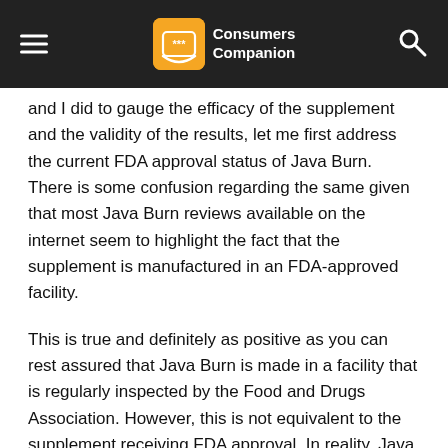Consumers Companion
and I did to gauge the efficacy of the supplement and the validity of the results, let me first address the current FDA approval status of Java Burn. There is some confusion regarding the same given that most Java Burn reviews available on the internet seem to highlight the fact that the supplement is manufactured in an FDA-approved facility.
This is true and definitely as positive as you can rest assured that Java Burn is made in a facility that is regularly inspected by the Food and Drugs Association. However, this is not equivalent to the supplement receiving FDA approval. In reality, Java Burn is yet to receive FDA approval.